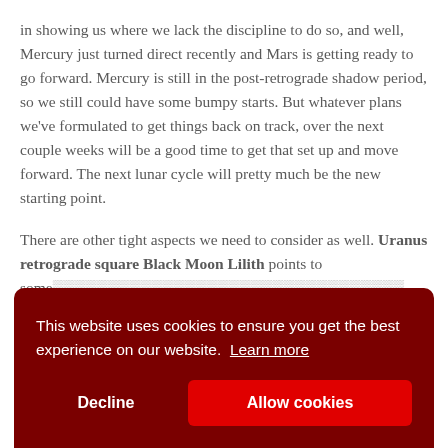in showing us where we lack the discipline to do so, and well, Mercury just turned direct recently and Mars is getting ready to go forward. Mercury is still in the post-retrograde shadow period, so we still could have some bumpy starts. But whatever plans we've formulated to get things back on track, over the next couple weeks will be a good time to get that set up and move forward. The next lunar cycle will pretty much be the new starting point.
There are other tight aspects we need to consider as well. Uranus retrograde square Black Moon Lilith points to some uncomfortable shadow changes to maybe facing within ours... and i... With... that... this... I've just had my birthday in the last couple days, so new solar...
This website uses cookies to ensure you get the best experience on our website. Learn more
Decline
Allow cookies